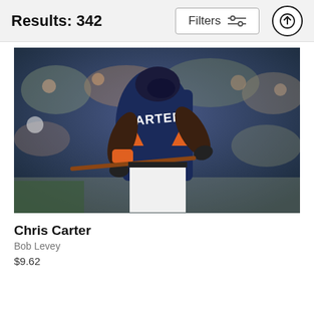Results: 342
[Figure (photo): Baseball player Chris Carter in Houston Astros navy and orange uniform, batting stance, viewed from behind showing CARTER jersey name, crowd in background]
Chris Carter
Bob Levey
$9.62